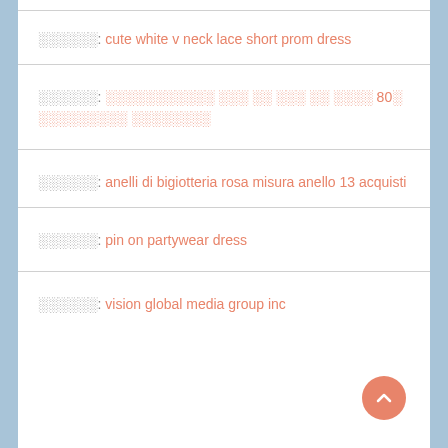░░░░░░: cute white v neck lace short prom dress
░░░░░░: ░░░░░░░░░░░ ░░░ ░░ ░░░ ░░ ░░░░ 80░ ░░░░░░░░░ ░░░░░░░░
░░░░░░: anelli di bigiotteria rosa misura anello 13 acquisti
░░░░░░: pin on partywear dress
░░░░░░: vision global media group inc